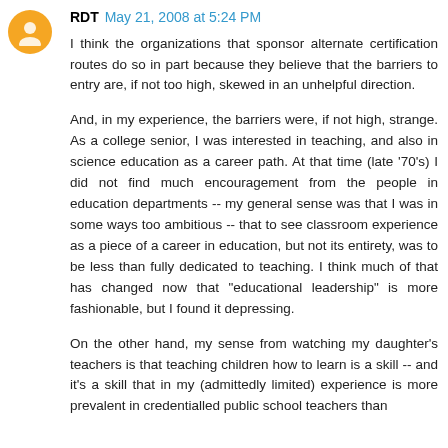RDT May 21, 2008 at 5:24 PM
I think the organizations that sponsor alternate certification routes do so in part because they believe that the barriers to entry are, if not too high, skewed in an unhelpful direction.
And, in my experience, the barriers were, if not high, strange. As a college senior, I was interested in teaching, and also in science education as a career path. At that time (late '70's) I did not find much encouragement from the people in education departments -- my general sense was that I was in some ways too ambitious -- that to see classroom experience as a piece of a career in education, but not its entirety, was to be less than fully dedicated to teaching. I think much of that has changed now that "educational leadership" is more fashionable, but I found it depressing.
On the other hand, my sense from watching my daughter's teachers is that teaching children how to learn is a skill -- and it's a skill that in my (admittedly limited) experience is more prevalent in credentialled public school teachers than